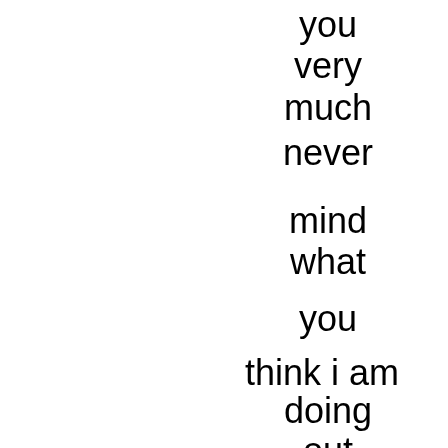you
very
much
never
mind
what
you
think i am
doing
out